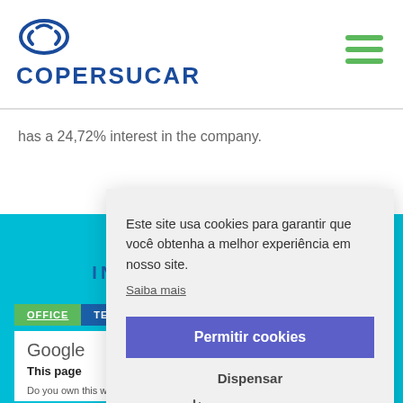[Figure (logo): Copersucar logo with stylized crown icon and blue bold text]
has a 24,72% interest in the company.
[Figure (screenshot): Copersucar website with cyan interactive map section and OFFICE/TERMINALS tabs, partially obscured by cookie consent popup]
Este site usa cookies para garantir que você obtenha a melhor experiência em nosso site.
Saiba mais
Permitir cookies
Dispensar
Cookie Preferences